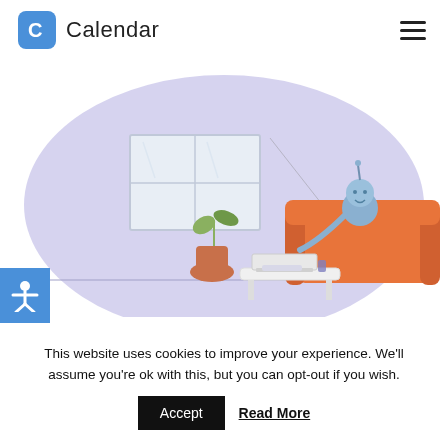[Figure (logo): Calendar app logo: blue rounded square with white 'C' icon, followed by the word 'Calendar' in dark text]
[Figure (illustration): Illustrated character (blue humanoid) sitting on an orange couch working on a laptop on a coffee table, with a plant nearby and a window on the wall behind, all on a soft purple oval background. Accessibility icon (person with arms spread) in a blue square on the left side.]
Working from home may sound like the
This website uses cookies to improve your experience. We'll assume you're ok with this, but you can opt-out if you wish.
Accept   Read More